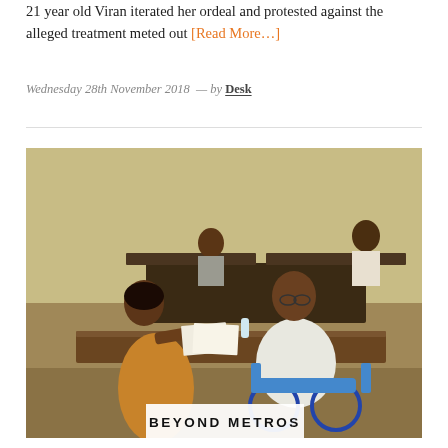21 year old Viran iterated her ordeal and protested against the alleged treatment meted out [Read More…]
Wednesday 28th November 2018 — by Desk
[Figure (photo): A man in a wheelchair at a desk/table being assisted by a woman in a saree in what appears to be a classroom or government office. Other people visible in background seated at desks. Photo has 'BEYOND METROS' text overlay at bottom center.]